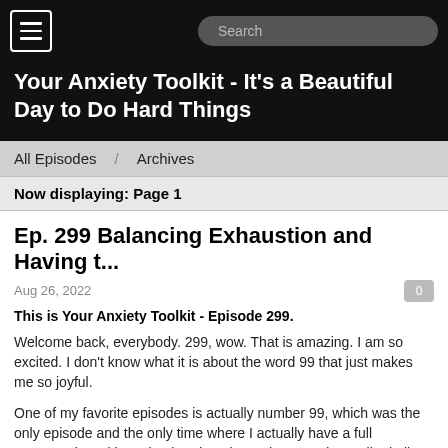Your Anxiety Toolkit - It's a Beautiful Day to Do Hard Things
All Episodes   Archives
Now displaying: Page 1
Ep. 299 Balancing Exhaustion and Having t...
Aug 26, 2022
This is Your Anxiety Toolkit - Episode 299.
Welcome back, everybody. 299, wow. That is amazing. I am so excited. I don't know what it is about the word 99 that just makes me so joyful.
One of my favorite episodes is actually number 99, which was the only episode and the only time where I actually have a full conversation with my husband on the podcast, and we talked all about agoraphobia and panic disorder specifically related to flying. So, if you want to hear me and my